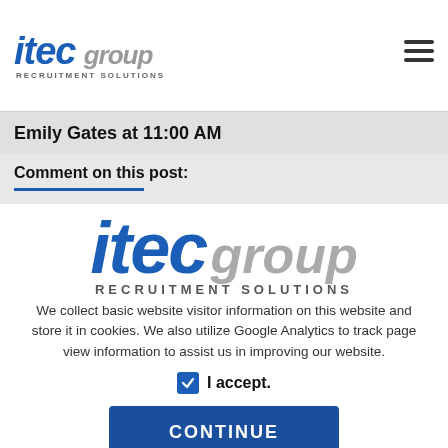[Figure (logo): itec group RECRUITMENT SOLUTIONS logo in top navigation bar]
Emily Gates at 11:00 AM
Comment on this post:
[Figure (logo): Large itec group RECRUITMENT SOLUTIONS logo centered in cookie consent overlay]
We collect basic website visitor information on this website and store it in cookies. We also utilize Google Analytics to track page view information to assist us in improving our website.
I accept.
CONTINUE